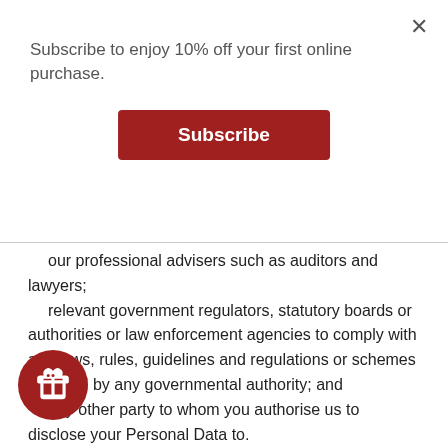Subscribe to enjoy 10% off your first online purchase.
Subscribe
our professional advisers such as auditors and lawyers;
relevant government regulators, statutory boards or authorities or law enforcement agencies to comply with any laws, rules, guidelines and regulations or schemes imposed by any governmental authority; and
any other party to whom you authorise us to disclose your Personal Data to.
Use of Cookies
A cookie is a small piece of information that is placed on your computer when you visit certain websites. Most websites like ours use cookies to enhance your online